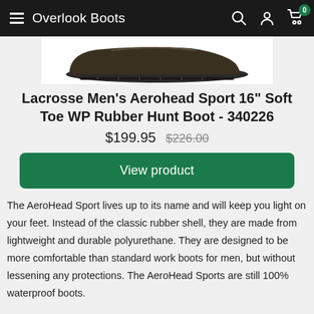Overlook Boots
[Figure (photo): Photo of a dark brown/black rubber hunting boot sole and lower profile against a white background]
Lacrosse Men's Aerohead Sport 16" Soft Toe WP Rubber Hunt Boot - 340226
$199.95  $226.00
View product
The AeroHead Sport lives up to its name and will keep you light on your feet. Instead of the classic rubber shell, they are made from lightweight and durable polyurethane. They are designed to be more comfortable than standard work boots for men, but without lessening any protections. The AeroHead Sports are still 100% waterproof boots.